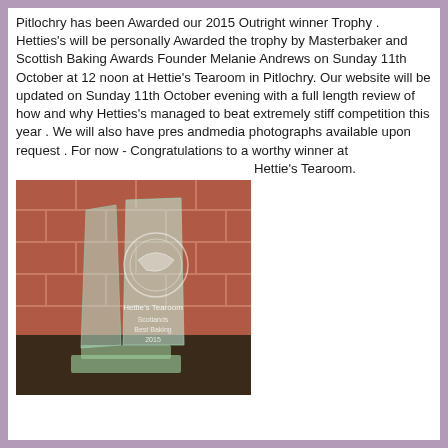Pitlochry has been Awarded our 2015 Outright winner Trophy . Hetties's will be personally Awarded the trophy by Masterbaker and Scottish Baking Awards Founder Melanie Andrews on Sunday 11th October at 12 noon at Hettie's Tearoom in Pitlochry. Our website will be updated on Sunday 11th October evening with a full length review of how and why Hetties's managed to beat extremely stiff competition this year . We will also have pres andmedia photographs available upon request . For now - Congratulations to a worthy winner at Hettie's Tearoom.
[Figure (photo): A glass trophy/award with engraved text reading 'Hettie's Tearoom Scotlands Best Baking 2015' with a Scottish Baking Awards logo, placed on a wooden surface against a red/terracotta tiled background.]